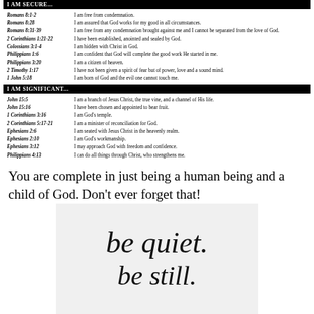I AM SECURE...
Romans 8:1-2 — I am free from condemnation.
Romans 8:28 — I am assured that God works for my good in all circumstances.
Romans 8:31-39 — I am free from any condemnation brought against me and I cannot be separated from the love of God.
2 Corinthians 1:21-22 — I have been established, anointed and sealed by God.
Colossians 3:1-4 — I am hidden with Christ in God.
Philippians 1:6 — I am confident that God will complete the good work He started in me.
Philippians 3:20 — I am a citizen of heaven.
2 Timothy 1:17 — I have not been given a spirit of fear but of power, love and a sound mind.
1 John 5:18 — I am born of God and the evil one cannot touch me.
I AM SIGNIFICANT...
John 15:5 — I am a branch of Jesus Christ, the true vine, and a channel of His life.
John 15:16 — I have been chosen and appointed to bear fruit.
1 Corinthians 3:16 — I am God's temple.
2 Corinthians 5:17-21 — I am a minister of reconciliation for God.
Ephesians 2:6 — I am seated with Jesus Christ in the heavenly realm.
Ephesians 2:10 — I am God's workmanship.
Ephesians 3:12 — I may approach God with freedom and confidence.
Philippians 4:13 — I can do all things through Christ, who strengthens me.
You are complete in just being a human being and a child of God. Don't ever forget that!
[Figure (illustration): Light gray box with handwritten-style script text reading 'be quiet.' and partially visible 'be still' below]